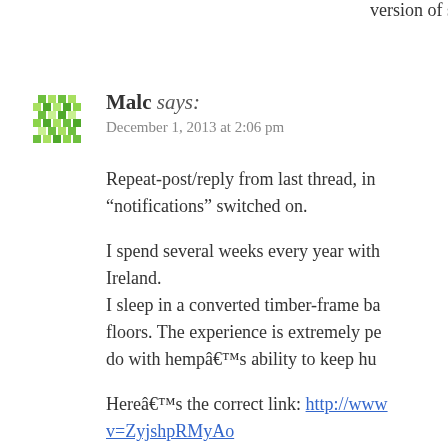version of smart approachs/ enforced treatmen
Malc says: December 1, 2013 at 2:06 pm
Repeat-post/reply from last thread, in“notifications” switched on.
I spend several weeks every year with Ireland.
I sleep in a converted timber-frame ba floors. The experience is extremely pe do with hempâ€™s ability to keep hu
Hereâ€™s the correct link: http://www v=ZyjshpRMyAo
The barn is on the left as you leave th also made of hemp.